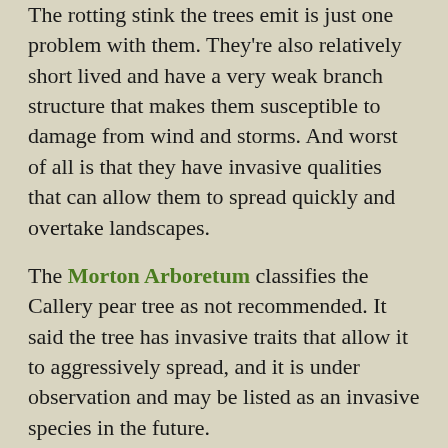The rotting stink the trees emit is just one problem with them. They're also relatively short lived and have a very weak branch structure that makes them susceptible to damage from wind and storms. And worst of all is that they have invasive qualities that can allow them to spread quickly and overtake landscapes.
The Morton Arboretum classifies the Callery pear tree as not recommended. It said the tree has invasive traits that allow it to aggressively spread, and it is under observation and may be listed as an invasive species in the future.
Between their invasive tendencies and propensity to become damaged in storms, some cities have taken a firm stand against Bradford pear trees. In Champaign, the trees cannot be planted in city rights-of-way, the University of Illinois Extension reports. Pittsburgh has banned them in the Pittsburgh Urban Forest Master Plan, and the